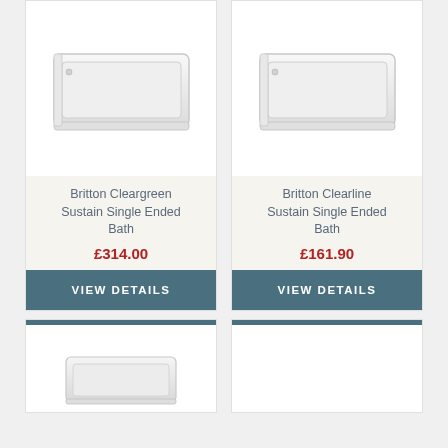[Figure (photo): White rectangular single ended bath product photo, top-left card]
Britton Cleargreen Sustain Single Ended Bath
£314.00
VIEW DETAILS
[Figure (photo): White rectangular single ended bath product photo, top-right card (partially visible)]
Britton Clearline Sustain Single Ended Bath
£161.90
VIEW DETAILS
[Figure (photo): White bath product photo, bottom-left card partially visible]
[Figure (photo): White bath product photo, bottom-right card partially visible]